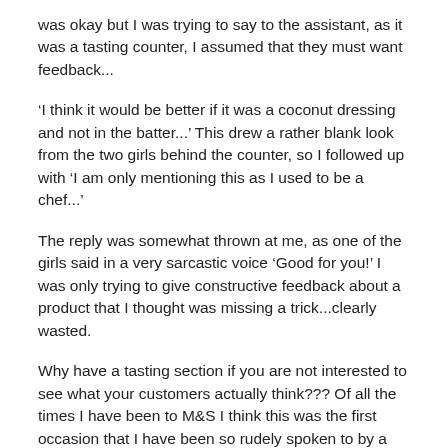was okay but I was trying to say to the assistant, as it was a tasting counter, I assumed that they must want feedback...
‘I think it would be better if it was a coconut dressing and not in the batter...’ This drew a rather blank look from the two girls behind the counter, so I followed up with ‘I am only mentioning this as I used to be a chef...’
The reply was somewhat thrown at me, as one of the girls said in a very sarcastic voice ‘Good for you!’  I was only trying to give constructive feedback about a product that I thought was missing a trick...clearly wasted.
Why have a tasting section if you are not interested to see what your customers actually think??? Of all the times I have been to M&S I think this was the first occasion that I have been so rudely spoken to by a member of staff!
After that incident, I decided I would window shop from then on.  I crossed over Oxford Street and wandered down Davis Street, taking in South Molton Street, Bond Street, Albemarle Street,